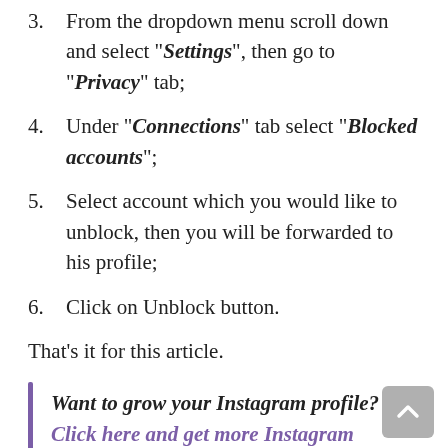3. From the dropdown menu scroll down and select "Settings", then go to "Privacy" tab;
4. Under "Connections" tab select "Blocked accounts";
5. Select account which you would like to unblock, then you will be forwarded to his profile;
6. Click on Unblock button.
That's it for this article.
Want to grow your Instagram profile? Click here and get more Instagram followers NOW!
I hope that you found this guide helpful and were able to unblock user on Instagram. Leave your